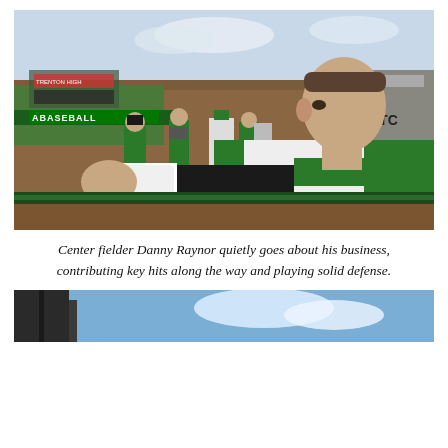[Figure (photo): A baseball player in a green and white uniform leans over a dugout railing, watching the field. Behind him, coaches and other players in green uniforms are gathered. A sign reading 'ABASEBALL' is visible in the background, along with a baseball field and bleachers. The player in the foreground has a wrist wrap.]
Center fielder Danny Raynor quietly goes about his business, contributing key hits along the way and playing solid defense.
[Figure (photo): Bottom partial photo showing a dark structure against a blue sky with white clouds.]